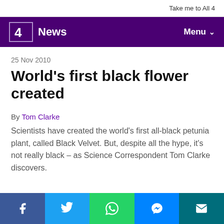Take me to All 4
4 News | Menu
25 Nov 2010
World’s first black flower created
By Tom Clarke
Scientists have created the world’s first all-black petunia plant, called Black Velvet. But, despite all the hype, it’s not really black – as Science Correspondent Tom Clarke discovers.